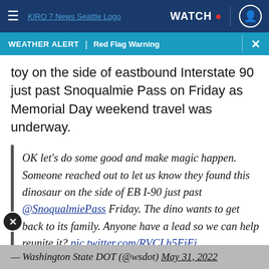KIRO 7 News Seattle Logo | WATCH | [user icon]
WEATHER ALERT | Red Flag Warning
toy on the side of eastbound Interstate 90 just past Snoqualmie Pass on Friday as Memorial Day weekend travel was underway.
OK let's do some good and make magic happen. Someone reached out to let us know they found this dinosaur on the side of EB I-90 just past @SnoqualmiePass Friday. The dino wants to get back to its family. Anyone have a lead so we can help reunite it? pic.twitter.com/RVCLh5FiFj
— Washington State DOT (@wsdot) May 31, 2022